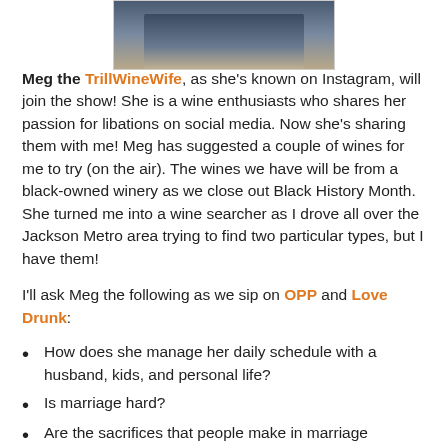[Figure (photo): Partial photo of a person, cropped at top of page]
Meg the TrillWineWife, as she's known on Instagram, will join the show!  She is a wine enthusiasts who shares her passion for libations on social media.  Now she's sharing them with me!  Meg has suggested a couple of wines for me to try (on the air).  The wines we have will be from a black-owned winery as we close out Black History Month.  She turned me into a wine searcher as I drove all over the Jackson Metro area trying to find two particular types, but I have them!
I'll ask Meg the following as we sip on OPP and Love Drunk:
How does she manage her daily schedule with a husband, kids, and personal life?
Is marriage hard?
Are the sacrifices that people make in marriage difficult?
And of course, we'll discuss wines as we taste some on the